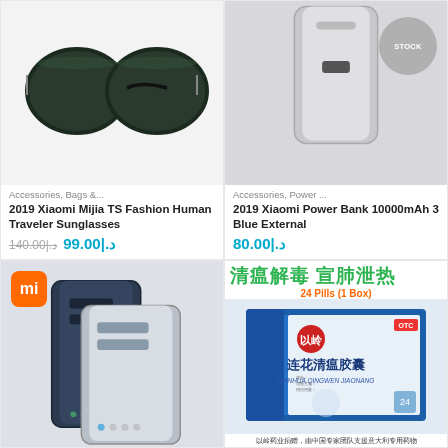[Figure (photo): Xiaomi Mijia TS Fashion sunglasses viewed from above, dark green lenses]
Accessories, Bags &...
2019 Xiaomi Mijia TS Fashion Human Traveler Sunglasses
140.00|.د  99.00|.د
[Figure (photo): Xiaomi Power Bank silver/grey rectangular device with OUT OF STOCK badge overlay]
Accessories, Power ...
2019 Xiaomi Power Bank 10000mAh 3 Blue External
80.00|.د
[Figure (photo): Xiaomi mi power bank devices - dark navy and silver aluminum rectangular power banks with USB ports, mi logo top-left]
[Figure (photo): Lianhua Qingwen Jiaonang (连花清瘟胶囊) medicine box - blue and white box with Chinese text, 24 pills (1 box) label. Chinese green characters: 清瘟解毒 宣肺泄热. Footer text: 以岭药业捐赠，由中国专家团队支援意大利专用药物]